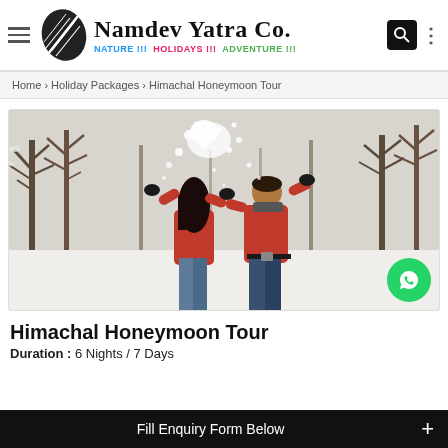Namdev Yatra Co. — NATURE !!! HOLIDAYS !!! ADVENTURE !!!
Home › Holiday Packages › Himachal Honeymoon Tour
[Figure (photo): A couple playing with snow in a winter forest scene, both wearing red sweaters. Snow is flying around them. Background shows bare trees covered in snow.]
Himachal Honeymoon Tour
Duration : 6 Nights / 7 Days
Fill Enquiry Form Below +